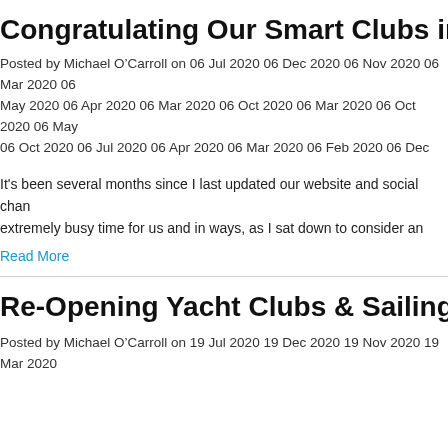Congratulating Our Smart Clubs in the UK & Ire
Posted by Michael O'Carroll on 06 Jul 2020 06 Dec 2020 06 Nov 2020 06 Mar 2020 06 May 2020 06 Apr 2020 06 Mar 2020 06 Oct 2020 06 Mar 2020 06 Oct 2020 06 May 2020 06 Oct 2020 06 Jul 2020 06 Apr 2020 06 Mar 2020 06 Feb 2020 06 Dec 2020 06 Nov 2020 06 Mar 2020 06 Feb 2020 06 Jan 2020 06 Dec 2020 06 Oct 2020 06 Sep 2020 06 A... 2020 in Club NewsGeneral Interest
It's been several months since I last updated our website and social chan... extremely busy time for us and in ways, as I sat down to consider an ove... sure where to begin.. latest products news, latest
Read More
Re-Opening Yacht Clubs & Sailing Clubs Acros
Posted by Michael O'Carroll on 19 Jul 2020 19 Dec 2020 19 Nov 2020 19 Mar 2020